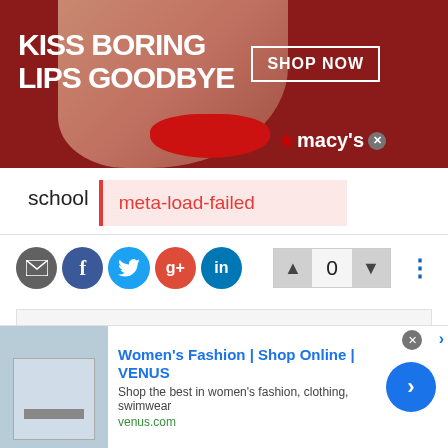[Figure (photo): Macy's advertisement banner: 'KISS BORING LIPS GOODBYE' with a woman's face wearing red lipstick, SHOP NOW button, and Macy's logo on a dark red background.]
school
meta-load-failed
[Figure (infographic): Social sharing buttons: email (grey), Facebook (blue), Twitter (light blue), Google+ (red), LinkedIn (dark blue), followed by upvote/downvote buttons with score 0, and a three-dot menu.]
Trending Recently
[Figure (illustration): Anime-style avatar icon]
i watch anime so what?
about 6 hours ago
[Figure (screenshot): Venus women's fashion advertisement: 'Women's Fashion | Shop Online | VENUS' with description 'Shop the best in women's fashion, clothing, swimwear' and venus.com URL, with a blue arrow button.]